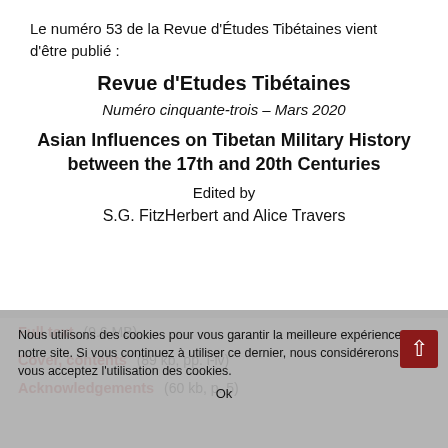Le numéro 53 de la Revue d'Études Tibétaines vient d'être publié :
Revue d'Etudes Tibétaines
Numéro cinquante-trois – Mars 2020
Asian Influences on Tibetan Military History between the 17th and 20th Centuries
Edited by
S.G. FitzHerbert and Alice Travers
Full text (9.6 MB)
Cover, contents (89 kb, pp. i-iv)
Acknowledgements (60 kb, p. 5)
Nous utilisons des cookies pour vous garantir la meilleure expérience sur notre site. Si vous continuez à utiliser ce dernier, nous considérerons que vous acceptez l'utilisation des cookies.
Ok